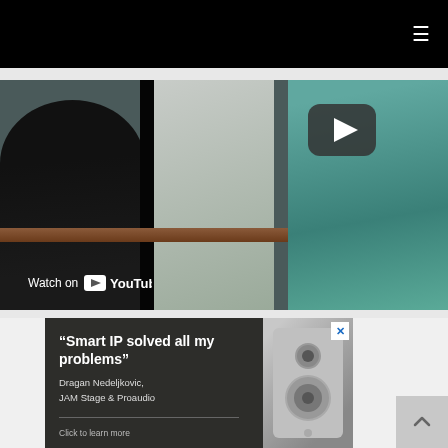≡ (hamburger menu icon)
[Figure (screenshot): YouTube video embed showing two people in conversation. Left: silhouette of person from behind. Right: person in teal/blue outfit. YouTube play button visible center-right. 'Watch on YouTube' text and logo at bottom left.]
[Figure (screenshot): Advertisement with dark background and speaker image. Headline: "Smart IP solved all my problems" by Dragan Nedeljkovic, JAM Stage & Proaudio. Close button (X) top right. 'Click to learn more' CTA at bottom.]